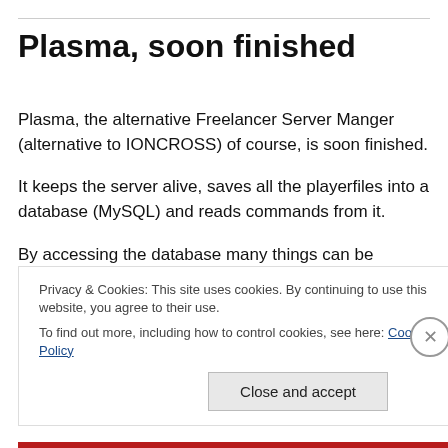Plasma, soon finished
Plasma, the alternative Freelancer Server Manger (alternative to IONCROSS) of course, is soon finished.
It keeps the server alive, saves all the playerfiles into a database (MySQL) and reads commands from it.
By accessing the database many things can be scripted, like changing equibment, reputation and money. Save ship
Privacy & Cookies: This site uses cookies. By continuing to use this website, you agree to their use.
To find out more, including how to control cookies, see here: Cookie Policy
Close and accept